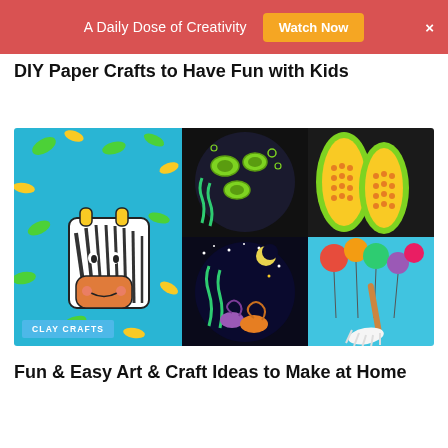A Daily Dose of Creativity  Watch Now  ×
DIY Paper Crafts to Have Fun with Kids
[Figure (photo): Collage of craft images: paper zebra on blue background with leaves, turtles painted on dark circle, corn art, night sky circle with snails, colorful balloons with broom. Badge says CLAY CRAFTS.]
Fun & Easy Art & Craft Ideas to Make at Home